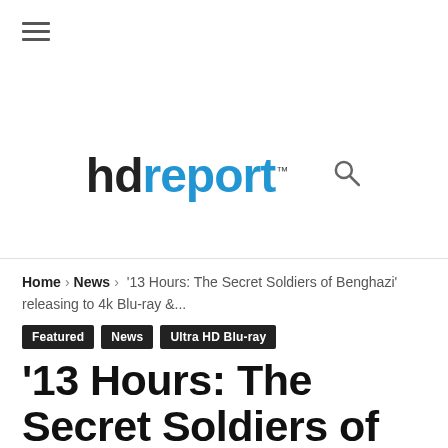☰ (hamburger menu icon)
[Figure (logo): hdreport logo — 'hd' in black bold, 'report' in blue bold, with trademark superscript, and a search icon]
Home › News › '13 Hours: The Secret Soldiers of Benghazi' releasing to 4k Blu-ray &...
Featured
News
Ultra HD Blu-ray
'13 Hours: The Secret Soldiers of Benghazi' releasing to 4k